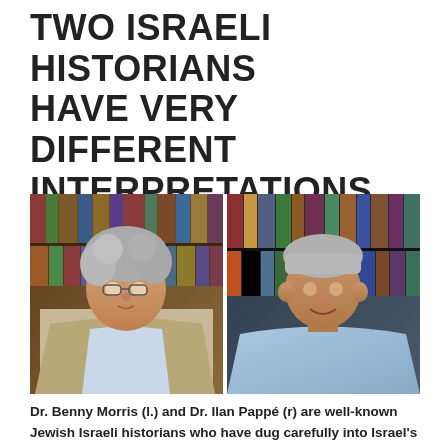TWO ISRAELI HISTORIANS HAVE VERY DIFFERENT INTERPRETATIONS
[Figure (photo): Side-by-side photos of two men in front of bookshelves. Left: Dr. Benny Morris, older man with curly grey hair and glasses, wearing a beige jacket. Right: Dr. Ilan Pappé, middle-aged man with short grey hair, smiling, wearing a light blue shirt.]
Dr. Benny Morris (l.) and Dr. Ilan Pappé (r) are well-known Jewish Israeli historians who have dug carefully into Israel's past. Morris is a proud Zionist. Pappé is opposed to Zionism.  Their